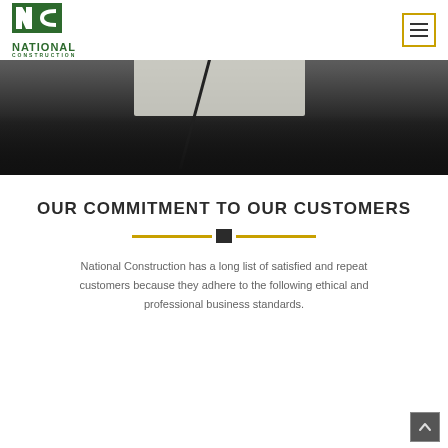[Figure (photo): Construction site photo showing diagonal structural elements and concrete surfaces with dark overlay at bottom]
National Construction — navigation header with logo and hamburger menu
OUR COMMITMENT TO OUR CUSTOMERS
National Construction has a long list of satisfied and repeat customers because they adhere to the following ethical and professional business standards.